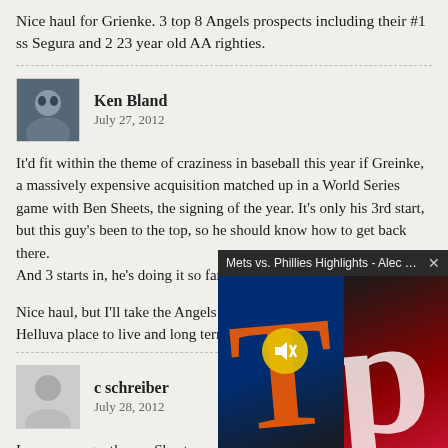Nice haul for Grienke. 3 top 8 Angels prospects including their #1 ss Segura and 2 23 year old AA righties.
Ken Bland
July 27, 2012

It'd fit within the theme of craziness in baseball this year if Greinke, a massively expensive acquisition matched up in a World Series game with Ben Sheets, the signing of the year. It's only his 3rd start, but this guy's been to the top, so he should know how to get back there.
And 3 starts in, he's doing it so far.
Nice haul, but I'll take the Angels picking him up as greatness. Helluva place to live and long term deal.
c schreiber
July 28, 2012

In case you gentlemen Sheets workout and fo him. Nice job, scouts a
[Figure (screenshot): Video overlay popup showing Mets vs. Phillies Highlights - Alec Bohm, ... with a mute button icon and team logos visible]